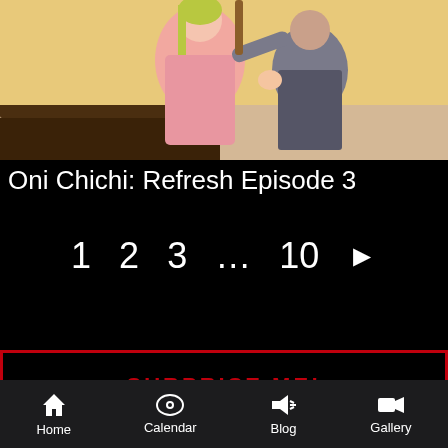[Figure (screenshot): Anime screenshot showing two characters in an indoor scene with wooden furniture background]
Oni Chichi: Refresh Episode 3
1  2  3  ...  10  ▶
SURPRISE ME!
Home  Calendar  Blog  Gallery